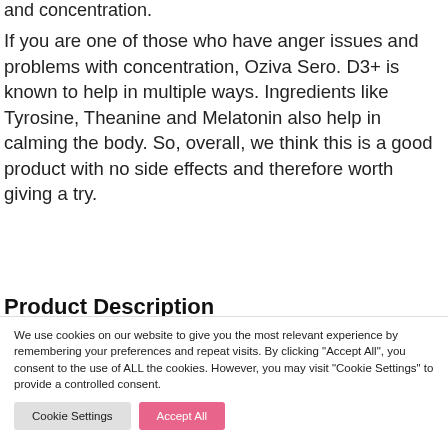and concentration.
If you are one of those who have anger issues and problems with concentration, Oziva Sero. D3+ is known to help in multiple ways. Ingredients like Tyrosine, Theanine and Melatonin also help in calming the body. So, overall, we think this is a good product with no side effects and therefore worth giving a try.
Product Description
We use cookies on our website to give you the most relevant experience by remembering your preferences and repeat visits. By clicking "Accept All", you consent to the use of ALL the cookies. However, you may visit "Cookie Settings" to provide a controlled consent.